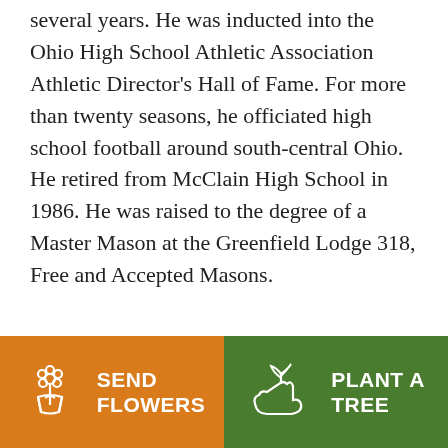several years. He was inducted into the Ohio High School Athletic Association Athletic Director's Hall of Fame. For more than twenty seasons, he officiated high school football around south-central Ohio. He retired from McClain High School in 1986. He was raised to the degree of a Master Mason at the Greenfield Lodge 318, Free and Accepted Masons.
A funeral service will be held on Wednesday, August 11, 2021 at 1 pm at the Greenfield First United Methodist
[Figure (illustration): Orange button with flower bouquet icon and text SEND FLOWERS]
[Figure (illustration): Green button with plant/hand icon and text PLANT A TREE]